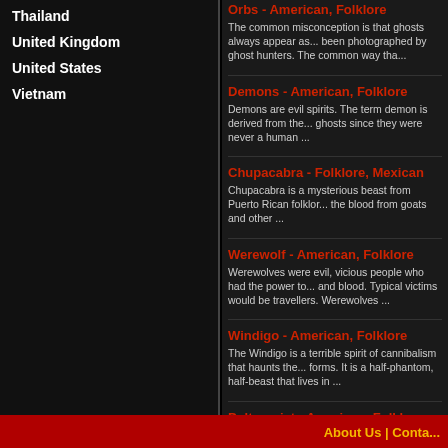Thailand
United Kingdom
United States
Vietnam
Orbs - American, Folklore
The common misconception is that ghosts always appear as... been photographed by ghost hunters. The common way tha...
Demons - American, Folklore
Demons are evil spirits. The term demon is derived from the... ghosts since they were never a human ...
Chupacabra - Folklore, Mexican
Chupacabra is a mysterious beast from Puerto Rican folklor... the blood from goats and other ...
Werewolf - American, Folklore
Werewolves were evil, vicious people who had the power to... and blood. Typical victims would be travellers. Werewolves ...
Windigo - American, Folklore
The Windigo is a terrible spirit of cannibalism that haunts the... forms. It is a half-phantom, half-beast that lives in ...
Poltergeist - American, Folklore
We thought we would highlight the word poltergeist, becaus... because Hollywood often portrays poltergeists in a negative...
About Us | Conta...